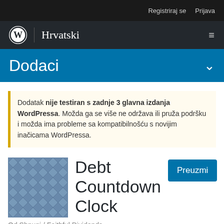Registriraj se   Prijava
Hrvatski
Dodaci
Dodatak nije testiran s zadnje 3 glavna izdanja WordPressa. Možda ga se više ne održava ili pruža podršku i možda ima probleme sa kompatibilnošću s novijim inačicama WordPressa.
[Figure (illustration): Plugin thumbnail image with blue-grey diamond pattern texture]
Debt Countdown Clock
Od Shnugi / Faithful Dividends